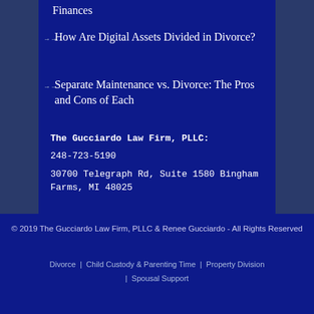How Are Digital Assets Divided in Divorce?
Separate Maintenance vs. Divorce: The Pros and Cons of Each
The Gucciardo Law Firm, PLLC:
248-723-5190
30700 Telegraph Rd, Suite 1580 Bingham Farms, MI 48025
© 2019 The Gucciardo Law Firm, PLLC & Renee Gucciardo - All Rights Reserved
Divorce  |  Child Custody & Parenting Time  |  Property Division  |  Spousal Support